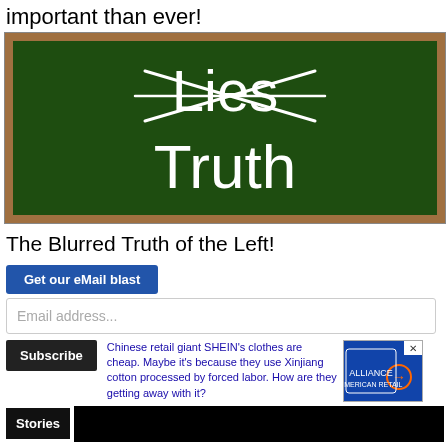important than ever!
[Figure (photo): A chalkboard with the word 'Lies' crossed out and 'Truth' written below it in chalk.]
The Blurred Truth of the Left!
Get our eMail blast
Email address...
Subscribe
Chinese retail giant SHEIN's clothes are cheap. Maybe it's because they use Xinjiang cotton processed by forced labor. How are they getting away with it?
Stories